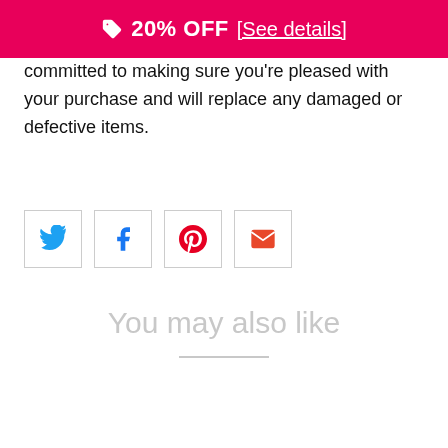🏷 20% OFF [See details]
committed to making sure you're pleased with your purchase and will replace any damaged or defective items.
[Figure (infographic): Four social share buttons in a row: Twitter (blue bird icon), Facebook (blue f icon), Pinterest (red P icon), Email (red envelope icon), each in a square bordered box]
You may also like